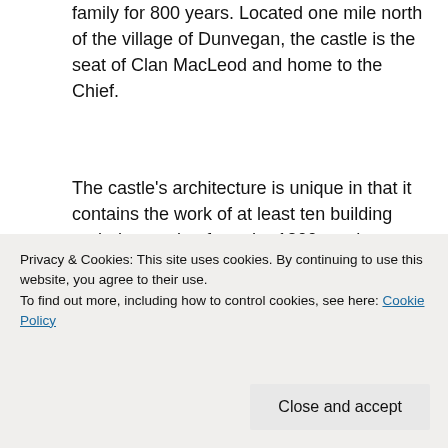family for 800 years. Located one mile north of the village of Dunvegan, the castle is the seat of Clan MacLeod and home to the Chief.
The castle's architecture is unique in that it contains the work of at least ten building periods, ranging from the 1200s to the 1850s. In the 1840s and 50s, the 25th Chief completed a restoration to unify the various structures. Under the updates however remains five separate buildings, each with its own character and historical stories.
[Figure (photo): Partial view of a photo of Dunvegan Castle, visible at top and bottom of page behind cookie banner]
Privacy & Cookies: This site uses cookies. By continuing to use this website, you agree to their use.
To find out more, including how to control cookies, see here: Cookie Policy
Close and accept